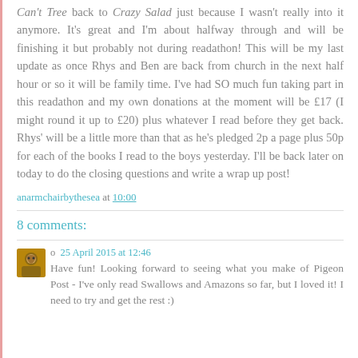Can't Tree back to Crazy Salad just because I wasn't really into it anymore. It's great and I'm about halfway through and will be finishing it but probably not during readathon! This will be my last update as once Rhys and Ben are back from church in the next half hour or so it will be family time. I've had SO much fun taking part in this readathon and my own donations at the moment will be £17 (I might round it up to £20) plus whatever I read before they get back. Rhys' will be a little more than that as he's pledged 2p a page plus 50p for each of the books I read to the boys yesterday. I'll be back later on today to do the closing questions and write a wrap up post!
anarmchairbythesea at 10:00
8 comments:
o  25 April 2015 at 12:46
Have fun! Looking forward to seeing what you make of Pigeon Post - I've only read Swallows and Amazons so far, but I loved it! I need to try and get the rest :)